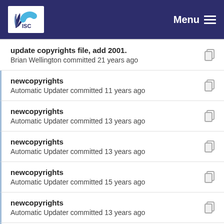ISC | Menu
update copyrights file, add 2001.
Brian Wellington committed 21 years ago
newcopyrights
Automatic Updater committed 11 years ago
newcopyrights
Automatic Updater committed 13 years ago
newcopyrights
Automatic Updater committed 13 years ago
newcopyrights
Automatic Updater committed 15 years ago
newcopyrights
Automatic Updater committed 13 years ago
newcopyrights
Automatic Updater committed 11 years ago